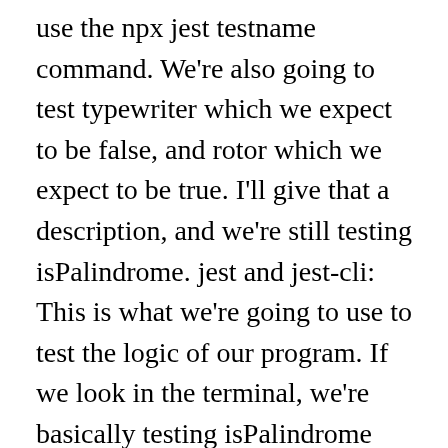use the npx jest testname command. We're also going to test typewriter which we expect to be false, and rotor which we expect to be true. I'll give that a description, and we're still testing isPalindrome. jest and jest-cli: This is what we're going to use to test the logic of our program. If we look in the terminal, we're basically testing isPalindrome with three different strings. We'll also look at the alternate version of test.each that lets us use a tagged template literal to describe the data for our test. This is going to be our actual test code. This helper encourages you to create the array of cases, where you store arguments and expected results, and then iterate through the entire array to run the tested